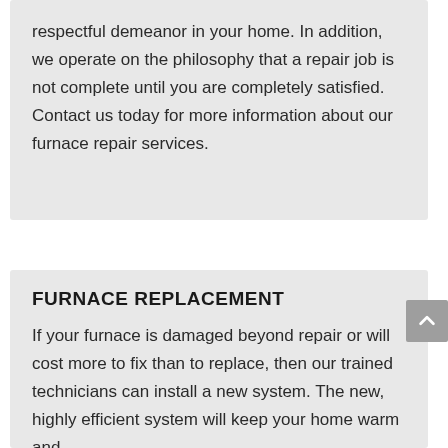respectful demeanor in your home. In addition, we operate on the philosophy that a repair job is not complete until you are completely satisfied. Contact us today for more information about our furnace repair services.
FURNACE REPLACEMENT
If your furnace is damaged beyond repair or will cost more to fix than to replace, then our trained technicians can install a new system. The new, highly efficient system will keep your home warm and